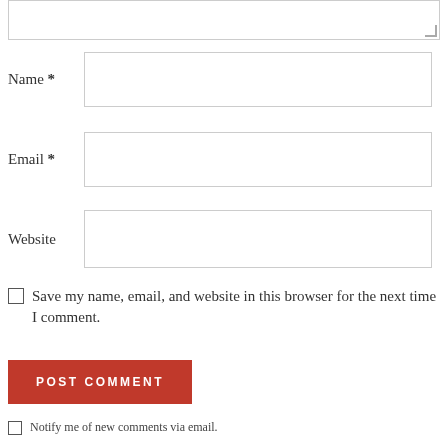[textarea input field]
Name *
Email *
Website
Save my name, email, and website in this browser for the next time I comment.
POST COMMENT
Notify me of new comments via email.